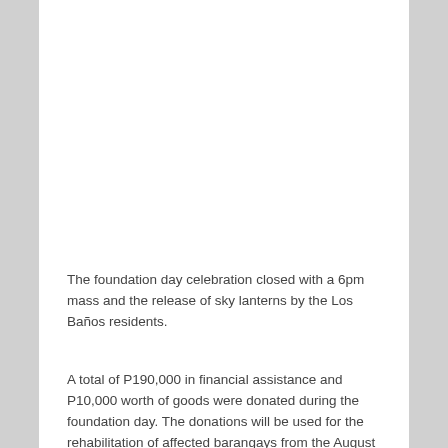The foundation day celebration closed with a 6pm mass and the release of sky lanterns by the Los Baños residents.
A total of P190,000 in financial assistance and P10,000 worth of goods were donated during the foundation day. The donations will be used for the rehabilitation of affected barangays from the August Habagat.